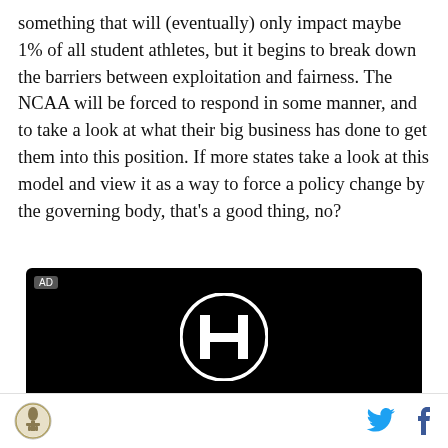something that will (eventually) only impact maybe 1% of all student athletes, but it begins to break down the barriers between exploitation and fairness. The NCAA will be forced to respond in some manner, and to take a look at what their big business has done to get them into this position. If more states take a look at this model and view it as a way to force a policy change by the governing body, that's a good thing, no?
[Figure (other): Honda advertisement on black background showing the Honda H logo and the text HONDA with 'All New' at the bottom, labeled AD in top-left corner]
Site logo | Twitter icon | Facebook icon